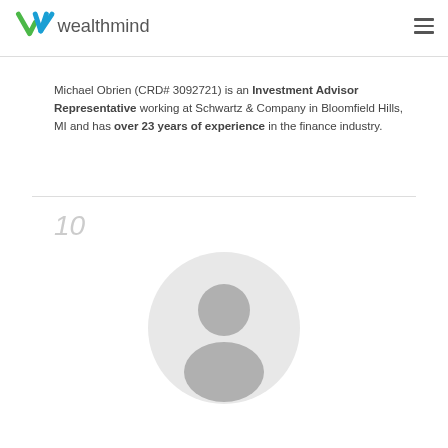wealthminder
Michael Obrien (CRD# 3092721) is an Investment Advisor Representative working at Schwartz & Company in Bloomfield Hills, MI and has over 23 years of experience in the finance industry.
10
[Figure (illustration): Circular default user avatar placeholder showing a silhouette of a person (head and shoulders) in gray on a light gray background.]